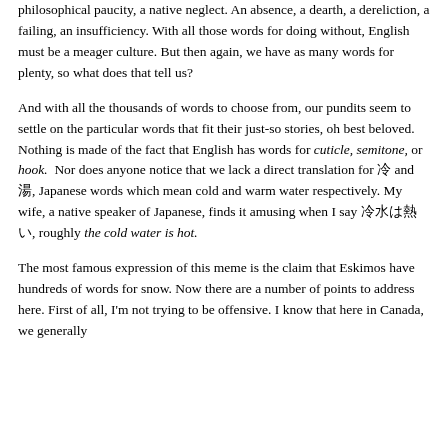philosophical paucity, a native neglect. An absence, a dearth, a dereliction, a failing, an insufficiency. With all those words for doing without, English must be a meager culture. But then again, we have as many words for plenty, so what does that tell us?
And with all the thousands of words to choose from, our pundits seem to settle on the particular words that fit their just-so stories, oh best beloved. Nothing is made of the fact that English has words for cuticle, semitone, or hook. Nor does anyone notice that we lack a direct translation for 冷 and 湯, Japanese words which mean cold and warm water respectively. My wife, a native speaker of Japanese, finds it amusing when I say 冷水は熱い, roughly the cold water is hot.
The most famous expression of this meme is the claim that Eskimos have hundreds of words for snow. Now there are a number of points to address here. First of all, I'm not trying to be offensive. I know that here in Canada, we generally